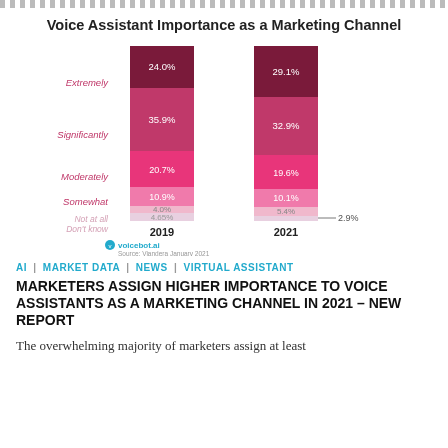[Figure (stacked-bar-chart): Voice Assistant Importance as a Marketing Channel]
AI | MARKET DATA | NEWS | VIRTUAL ASSISTANT
MARKETERS ASSIGN HIGHER IMPORTANCE TO VOICE ASSISTANTS AS A MARKETING CHANNEL IN 2021 – NEW REPORT
The overwhelming majority of marketers assign at least